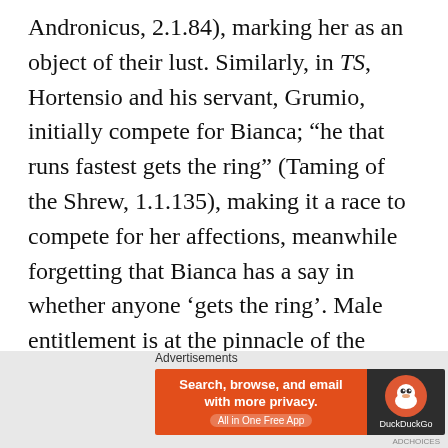Andronicus, 2.1.84), marking her as an object of their lust. Similarly, in TS, Hortensio and his servant, Grumio, initially compete for Bianca; “he that runs fastest gets the ring” (Taming of the Shrew, 1.1.135), making it a race to compete for her affections, meanwhile forgetting that Bianca has a say in whether anyone ‘gets the ring’. Male entitlement is at the pinnacle of the marriage market, Petruccio states “thou must be married to no man but me / For I am he born to tame you Kate / And bring you from a wild Kate
[Figure (other): Advertisement banner for DuckDuckGo: 'Search, browse, and email with more privacy. All in One Free App' with DuckDuckGo logo on dark background]